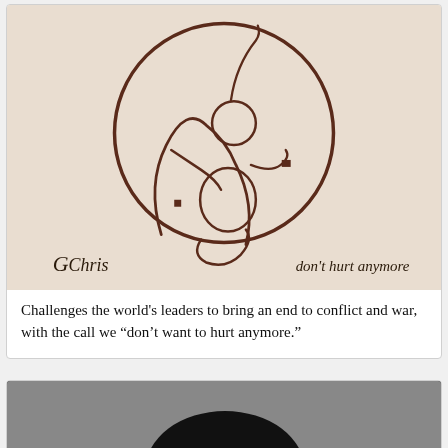[Figure (illustration): Artwork by GChris showing a wire/line art figure of a person huddled or crouching inside a large circle, with text 'don't hurt anymore' in italic and the artist signature 'GChris' in the lower left]
Challenges the world's leaders to bring an end to conflict and war, with the call we "don't want to hurt anymore."
[Figure (photo): Partial view of what appears to be a dark/black object against a light background, cut off at the bottom of the page]